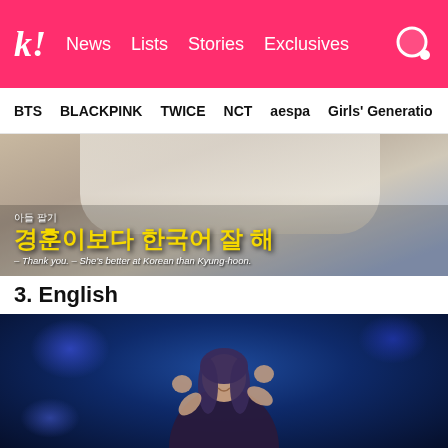k! News | Lists | Stories | Exclusives
BTS | BLACKPINK | TWICE | NCT | aespa | Girls' Generation
[Figure (screenshot): TV show screenshot with Korean text subtitles: 아들 팔기 / 경훈이보다 한국어 잘 해 / - Thank you. - She's better at Korean than Kyung-hoon.]
3. English
[Figure (photo): BLACKPINK Lisa performing on stage with blue stage lighting, smiling with hands raised near head making a gesture]